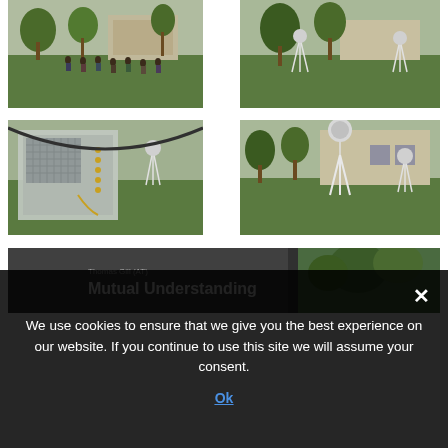[Figure (photo): People standing in a green park with young trees and a building in background]
[Figure (photo): Green park area with trees, white tripod stand visible, building in background]
[Figure (photo): Close-up of electronic/audio equipment box with cables, outdoor speaker on tripod in background]
[Figure (photo): White tripod with spherical speaker in green park, yellow building in background]
[Figure (photo): Dark screen showing text: Thomas Gill (AT) Mutual Understanding, with a window view of trees]
We use cookies to ensure that we give you the best experience on our website. If you continue to use this site we will assume your consent.
Ok